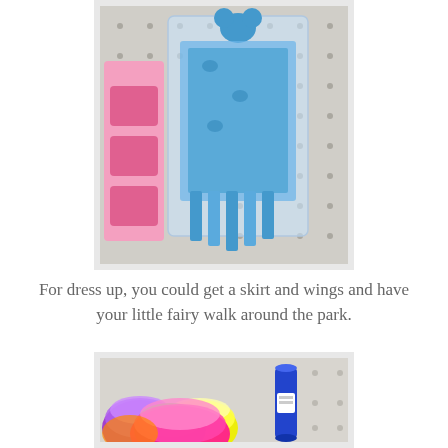[Figure (photo): A Mickey Mouse themed lanyard/wand set in clear plastic packaging hanging on a pegboard display in a store. Pink packaged items visible on the left side of the pegboard.]
For dress up, you could get a skirt and wings and have your little fairy walk around the park.
[Figure (photo): Colorful tutu skirts in bright neon colors (purple, yellow, green, pink, orange) displayed on a pegboard in a store, with a blue cylindrical item visible on the right.]